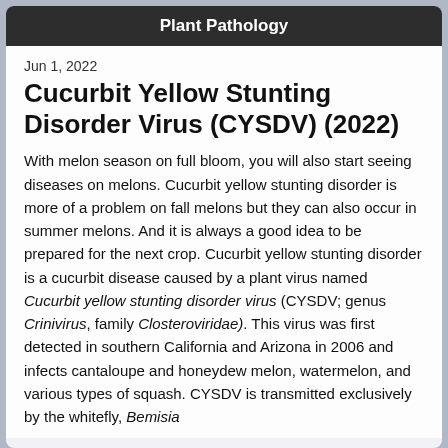Plant Pathology
Jun 1, 2022
Cucurbit Yellow Stunting Disorder Virus (CYSDV) (2022)
With melon season on full bloom, you will also start seeing diseases on melons. Cucurbit yellow stunting disorder is more of a problem on fall melons but they can also occur in summer melons. And it is always a good idea to be prepared for the next crop. Cucurbit yellow stunting disorder is a cucurbit disease caused by a plant virus named Cucurbit yellow stunting disorder virus (CYSDV; genus Crinivirus, family Closteroviridae). This virus was first detected in southern California and Arizona in 2006 and infects cantaloupe and honeydew melon, watermelon, and various types of squash. CYSDV is transmitted exclusively by the whitefly, Bemisia